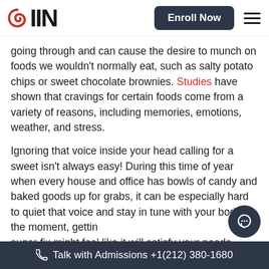IIN | Enroll Now
going through and can cause the desire to munch on foods we wouldn't normally eat, such as salty potato chips or sweet chocolate brownies. Studies have shown that cravings for certain foods come from a variety of reasons, including memories, emotions, weather, and stress.
Ignoring that voice inside your head calling for a sweet isn't always easy! During this time of year when every house and office has bowls of candy and baked goods up for grabs, it can be especially hard to quiet that voice and stay in tune with your body. In the moment, getting a sugar fix might feel like it will satisfy your needs, but giving into processed sweets often leads to further
Talk with Admissions +1(212) 380-1680